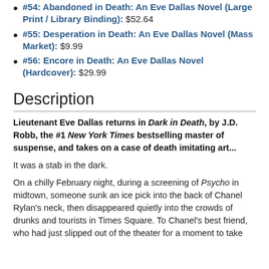#54: Abandoned in Death: An Eve Dallas Novel (Large Print / Library Binding): $52.64
#55: Desperation in Death: An Eve Dallas Novel (Mass Market): $9.99
#56: Encore in Death: An Eve Dallas Novel (Hardcover): $29.99
Description
Lieutenant Eve Dallas returns in Dark in Death, by J.D. Robb, the #1 New York Times bestselling master of suspense, and takes on a case of death imitating art...
It was a stab in the dark.
On a chilly February night, during a screening of Psycho in midtown, someone sunk an ice pick into the back of Chanel Rylan’s neck, then disappeared quietly into the crowds of drunks and tourists in Times Square. To Chanel’s best friend, who had just slipped out of the theater for a moment to take